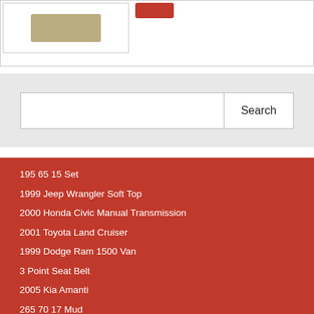[Figure (photo): Product image placeholder showing a brownish/tan colored item in a white box]
[Figure (other): Red button/badge element]
Search
195 65 15 Set
1999 Jeep Wrangler Soft Top
2000 Honda Civic Manual Transmission
2001 Toyota Land Cruiser
1999 Dodge Ram 1500 Van
3 Point Seat Belt
2005 Kia Amanti
265 70 17 Mud
1 Inch Carb Spacer
3157 Led Bulb